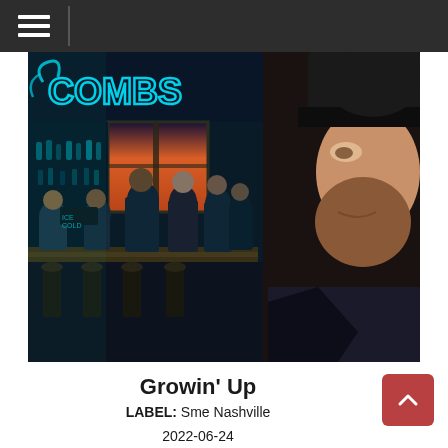[Figure (photo): Album cover art for Growin' Up by Luke Combs. Left side shows a colorful illustrated scene of people at a bar/saloon with a neon sign reading COMBS above. Right side shows a real photo of Luke Combs, a bearded man wearing a dark baseball cap and jacket, smiling slightly.]
Growin' Up
LABEL: Sme Nashville
2022-06-24